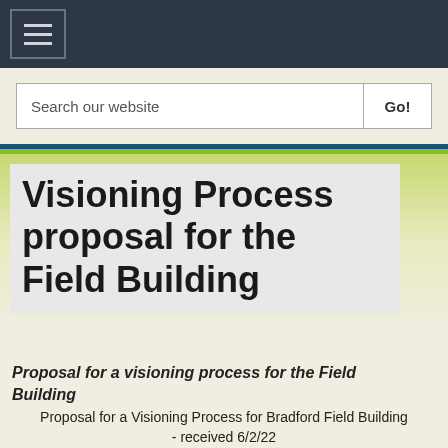[Figure (screenshot): Navigation bar with hamburger menu icon on dark background]
Search our website
Visioning Process proposal for the Field Building
Proposal for a visioning process for the Field Building
Proposal for a Visioning Process for Bradford Field Building - received 6/2/22